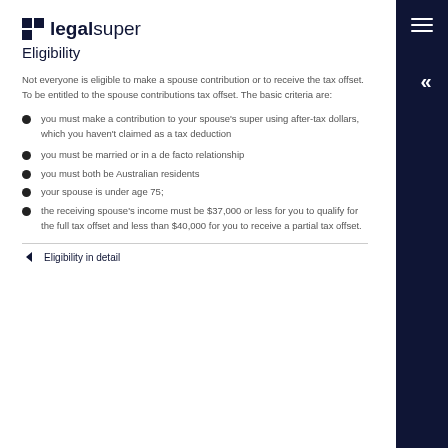legalsuper
Eligibility
Not everyone is eligible to make a spouse contribution or to receive the tax offset. To be entitled to the spouse contributions tax offset. The basic criteria are:
you must make a contribution to your spouse's super using after-tax dollars, which you haven't claimed as a tax deduction
you must be married or in a de facto relationship
you must both be Australian residents
your spouse is under age 75;
the receiving spouse's income must be $37,000 or less for you to qualify for the full tax offset and less than $40,000 for you to receive a partial tax offset.
Eligibility in detail